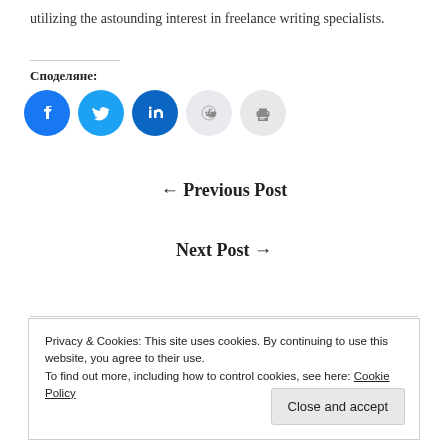utilizing the astounding interest in freelance writing specialists.
Споделяне:
[Figure (other): Social sharing buttons: Facebook, Twitter, LinkedIn, Reddit, Print]
← Previous Post
Next Post →
Privacy & Cookies: This site uses cookies. By continuing to use this website, you agree to their use.
To find out more, including how to control cookies, see here: Cookie Policy
Close and accept